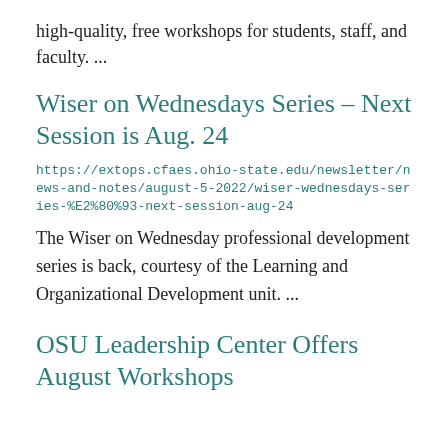high-quality, free workshops for students, staff, and faculty. ...
Wiser on Wednesdays Series – Next Session is Aug. 24
https://extops.cfaes.ohio-state.edu/newsletter/news-and-notes/august-5-2022/wiser-wednesdays-series-%E2%80%93-next-session-aug-24
The Wiser on Wednesday professional development series is back, courtesy of the Learning and Organizational Development unit. ...
OSU Leadership Center Offers August Workshops